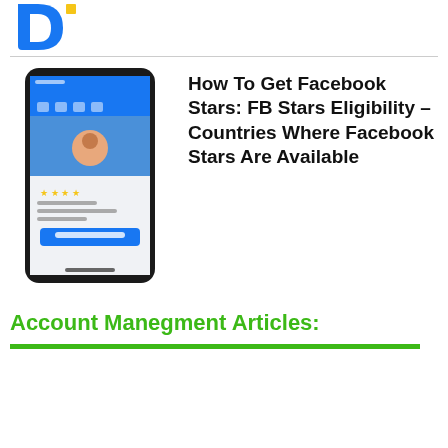[Figure (logo): Blue logo mark (partial letter D shape) with a small yellow square accent, top-left corner]
[Figure (screenshot): Smartphone showing a Facebook page with Stars feature, profile image, star icons in yellow, and a blue button at the bottom]
How To Get Facebook Stars: FB Stars Eligibility – Countries Where Facebook Stars Are Available
Account Manegment Articles: